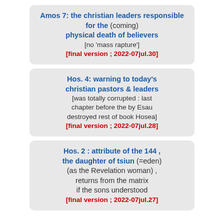Amos 7: the christian leaders responsible for the (coming) physical death of believers [no 'mass rapture'] [final version ; 2022-07jul.30]
Hos. 4: warning to today's christian pastors & leaders [was totally corrupted : last chapter before the by Esau destroyed rest of book Hosea] [final version ; 2022-07jul.28]
Hos. 2 : attribute of the 144 , the daughter of tsiun (=eden) (as the Revelation woman) , returns from the matrix if the sons understood [final version ; 2022-07jul.27]